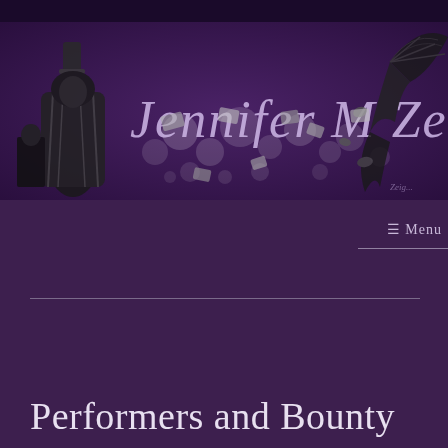[Figure (illustration): Website header banner with dark purple background showing 'Jennifer M Zeiger' in cursive/calligraphic script, with decorative illustrations of a robed figure on the left and a dragon/bat-winged creature on the right, with scattered bokeh light effects throughout]
≡ Menu
Performers and Bounty